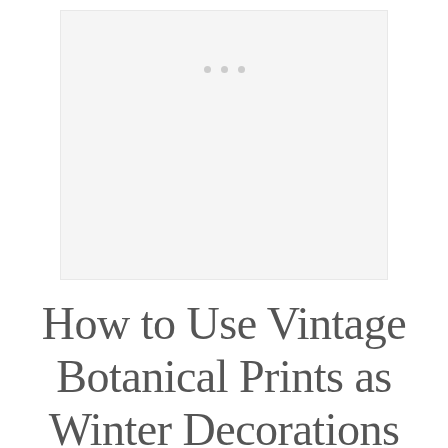[Figure (photo): Light gray placeholder image area with three small gray dots centered near the top, indicating a loading or empty image state]
How to Use Vintage Botanical Prints as Winter Decorations